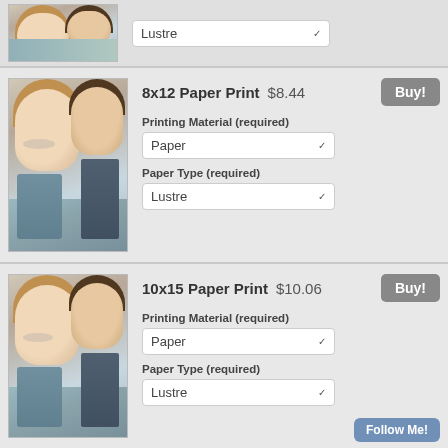[Figure (photo): Couple photo thumbnail - top partial section with Lustre dropdown]
Lustre
[Figure (photo): Couple photo thumbnail for 8x12 Paper Print]
8x12 Paper Print
$8.44
Buy!
Printing Material (required)
Paper
Paper Type (required)
Lustre
[Figure (photo): Couple photo thumbnail for 10x15 Paper Print]
10x15 Paper Print
$10.06
Buy!
Printing Material (required)
Paper
Paper Type (required)
Lustre
Follow Me!